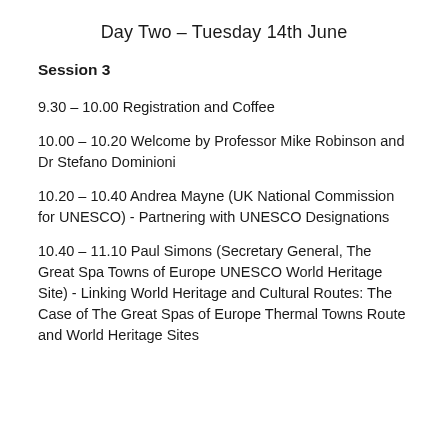Day Two – Tuesday 14th June
Session 3
9.30 – 10.00 Registration and Coffee
10.00 – 10.20 Welcome by Professor Mike Robinson and Dr Stefano Dominioni
10.20 – 10.40 Andrea Mayne (UK National Commission for UNESCO) - Partnering with UNESCO Designations
10.40 – 11.10 Paul Simons (Secretary General, The Great Spa Towns of Europe UNESCO World Heritage Site) - Linking World Heritage and Cultural Routes: The Case of The Great Spas of Europe Thermal Towns Route and World Heritage Sites